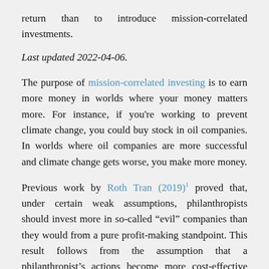return than to introduce mission-correlated investments.
Last updated 2022-04-06.
The purpose of mission-correlated investing is to earn more money in worlds where your money matters more. For instance, if you're working to prevent climate change, you could buy stock in oil companies. In worlds where oil companies are more successful and climate change gets worse, you make more money.
Previous work by Roth Tran (2019)¹ proved that, under certain weak assumptions, philanthropists should invest more in so-called “evil” companies than they would from a pure profit-making standpoint. This result follows from the assumption that a philanthropist’s actions become more cost-effective when the world gets worse along some dimension.
That’s an interesting result. But all it says is altruists should invest more than zero in mission hedging. How much more? Am